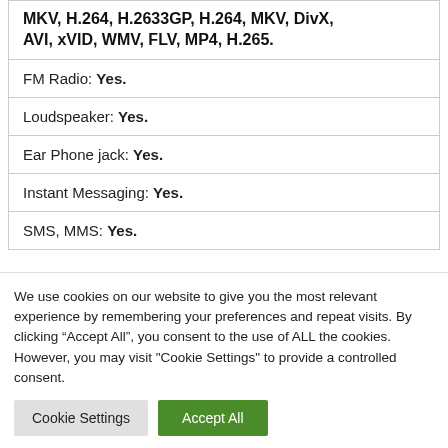| MKV, H.264, H.2633GP, H.264, MKV, DivX, AVI, xVID, WMV, FLV, MP4, H.265. |
| FM Radio: Yes. |
| Loudspeaker: Yes. |
| Ear Phone jack: Yes. |
| Instant Messaging: Yes. |
| SMS, MMS: Yes. |
We use cookies on our website to give you the most relevant experience by remembering your preferences and repeat visits. By clicking “Accept All”, you consent to the use of ALL the cookies. However, you may visit "Cookie Settings" to provide a controlled consent.
Cookie Settings | Accept All